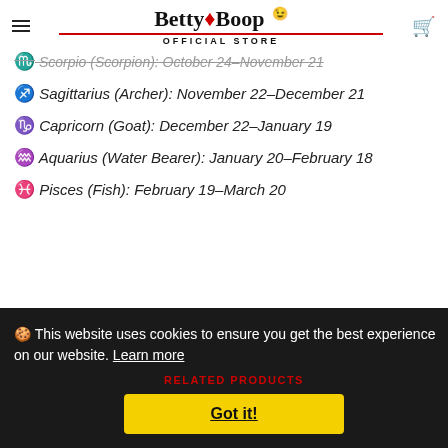Betty Boop Official Store
♏ Scorpio (Scorpion): October 24-November 21
♐ Sagittarius (Archer): November 22–December 21
♑ Capricorn (Goat): December 22–January 19
♒ Aquarius (Water Bearer): January 20–February 18
♓ Pisces (Fish): February 19–March 20
🍪 This website uses cookies to ensure you get the best experience on our website. Learn more
RELATED PRODUCTS
Got it!